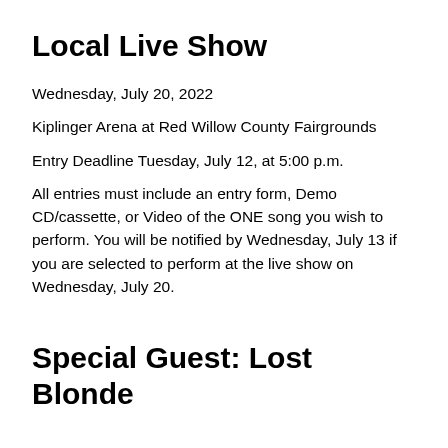Local Live Show
Wednesday, July 20, 2022
Kiplinger Arena at Red Willow County Fairgrounds
Entry Deadline Tuesday, July 12, at 5:00 p.m.
All entries must include an entry form, Demo CD/cassette, or Video of the ONE song you wish to perform. You will be notified by Wednesday, July 13 if you are selected to perform at the live show on Wednesday, July 20.
Special Guest: Lost Blonde